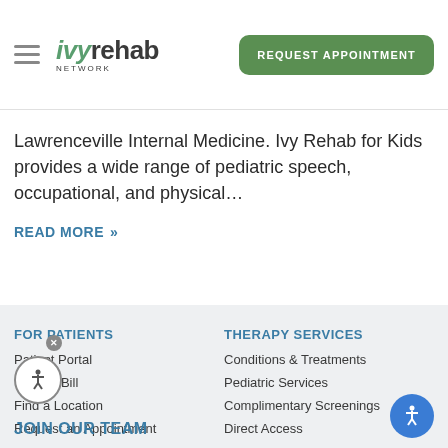Ivy Rehab Network – REQUEST APPOINTMENT
Lawrenceville Internal Medicine. Ivy Rehab for Kids provides a wide range of pediatric speech, occupational, and physical…
READ MORE >>
FOR PATIENTS
Patient Portal
Pay My Bill
Find a Location
Request an Appointment
THERAPY SERVICES
Conditions & Treatments
Pediatric Services
Complimentary Screenings
Direct Access
JOIN OUR TEAM